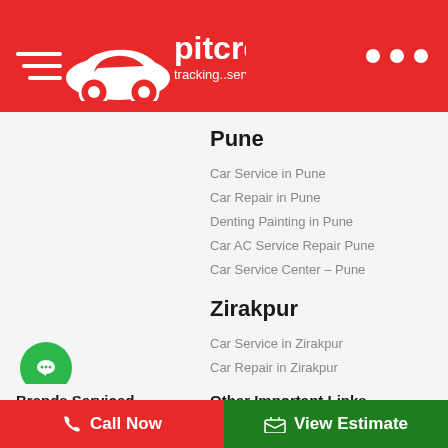[Figure (logo): Pitcrew logo: white car icon with speed lines and text 'pitcrew tracking..servicing..' on red background]
Pune
Car Service in Pune
Car Repair in Pune
Denting Painting in Pune
Car AC Service Repair Pune
Car Service Center – Pune
Zirakpur
Car Service in Zirakpur
Car Repair in Zirakpur
Denting Painting in Zirakpur
Car AC Service Repair Zirakpur
Car Service Center – Zirakpur
Brands Serviced
Other Important Links
Popular Cars Service
Car Denting Painting in Manesar
Audi Denting Painting In Manesar
BMW Denting Painting In Manesar
Chevrolet Denting Painting In Manesar
Chevrolet Service Center
Ford Service Center
Call Now
View Estimate